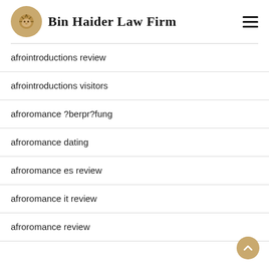Bin Haider Law Firm
afrointroductions review
afrointroductions visitors
afroromance ?berpr?fung
afroromance dating
afroromance es review
afroromance it review
afroromance review